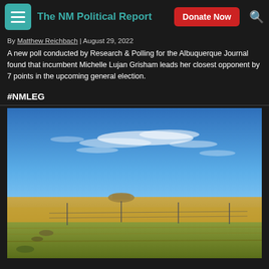The NM Political Report
By Matthew Reichbach | August 29, 2022
A new poll conducted by Research & Polling for the Albuquerque Journal found that incumbent Michelle Lujan Grisham leads her closest opponent by 7 points in the upcoming general election.
#NMLEG
[Figure (photo): Wide landscape photograph of New Mexico grassland/prairie under a vivid blue sky with wispy white clouds, featuring flat terrain, golden-brown grass, a fence line, and a distant mesa or butte on the horizon.]